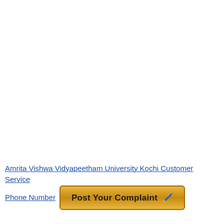Amrita Vishwa Vidyapeetham University Kochi Customer Service Phone Number
[Figure (other): A gold/yellow button with the text 'Post Your Complaint' and a pencil/notepad emoji icon]